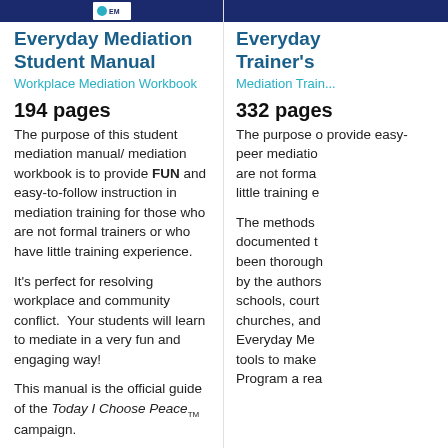[Figure (other): Top banner with dark blue background and logo for Everyday Mediation Student Manual]
Everyday Mediation Student Manual
Workplace Mediation Workbook
194 pages
The purpose of this student mediation manual/ mediation workbook is to provide FUN and easy-to-follow instruction in mediation training for those who are not formal trainers or who have little training experience.
It's perfect for resolving workplace and community conflict.  Your students will learn to mediate in a very fun and engaging way!
This manual is the official guide of the Today I Choose Peace™ campaign.
[Figure (other): Top banner with dark blue background for Everyday Mediation Trainer's manual]
Everyday Trainer's
Mediation Train...
332 pages
The purpose of this provide easy- peer mediatio are not forma little training e
The methods documented t been thorough by the authors schools, court churches, and Everyday Me tools to make Program a rea